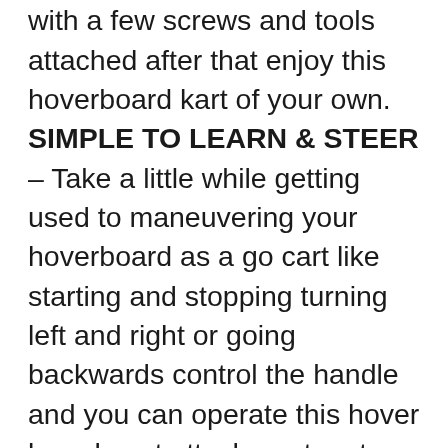installation of this hoverkart with a few screws and tools attached after that enjoy this hoverboard kart of your own. SIMPLE TO LEARN & STEER – Take a little while getting used to maneuvering your hoverboard as a go cart like starting and stopping turning left and right or going backwards control the handle and you can operate this hover board seat attachment go to place you want and we supply extra velcro straps for replacement so that you can enjoy the pleasure of this kart for a long time. Manufactured by Hishine. LIGHTWEIGHT & ADJUSTABLE – It's lightweight and great